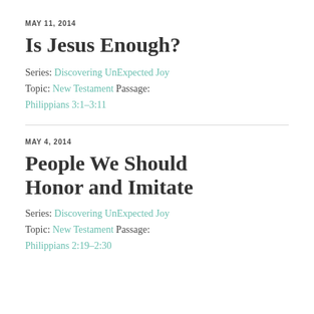MAY 11, 2014
Is Jesus Enough?
Series: Discovering UnExpected Joy
Topic: New Testament Passage:
Philippians 3:1–3:11
MAY 4, 2014
People We Should Honor and Imitate
Series: Discovering UnExpected Joy
Topic: New Testament Passage:
Philippians 2:19–2:30